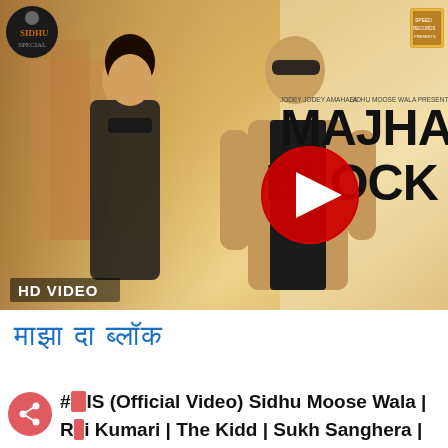[Figure (screenshot): YouTube video thumbnail for 'Majha Block' featuring two people standing together against a warm golden background. Text 'MAJHA BLOCK' in large bold letters on the right side. YouTube play button in the center. 'HD VIDEO' label in bottom-left. Two logos visible top-left and top-right corners.]
माझा दा ब्लॉक (Punjabi/Hindi title in blue)
#MIS (Official Video) Sidhu Moose Wala | Rai Kumari | The Kidd | Sukh Sanghera | Moo...